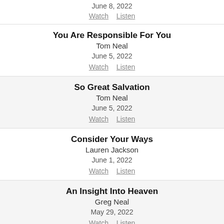June 8, 2022
Watch   Listen
You Are Responsible For You
Tom Neal
June 5, 2022
Watch   Listen
So Great Salvation
Tom Neal
June 5, 2022
Watch   Listen
Consider Your Ways
Lauren Jackson
June 1, 2022
Watch   Listen
An Insight Into Heaven
Greg Neal
May 29, 2022
Watch   Listen